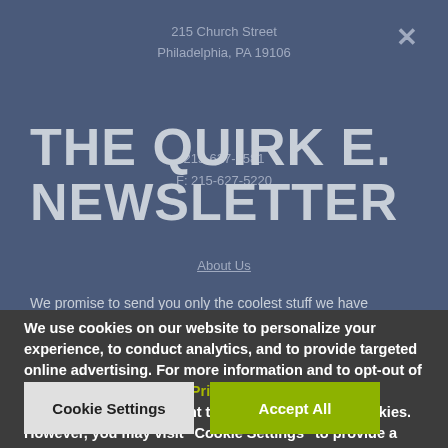215 Church Street
Philadelphia, PA 19106
215-627-3581
F: 215-627-5220
THE QUIRK E. NEWSLETTER
About Us
We promise to send you only the coolest stuff we have
We use cookies on our website to personalize your experience, to conduct analytics, and to provide targeted online advertising. For more information and to opt-out of cookies, please see our Privacy Policy. By clicking "Accept All", you consent to the use of ALL the cookies. However, you may visit "Cookie Settings" to provide a controlled consent.
Cookie Settings
Accept All